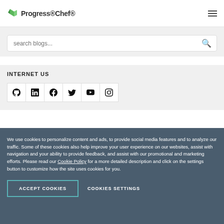Progress Chef
search blogs...
INTERNET US
[Figure (illustration): Social media icons: GitHub, LinkedIn, Facebook, Twitter, YouTube, Instagram]
We use cookies to personalize content and ads, to provide social media features and to analyze our traffic. Some of these cookies also help improve your user experience on our websites, assist with navigation and your ability to provide feedback, and assist with our promotional and marketing efforts. Please read our Cookie Policy for a more detailed description and click on the settings button to customize how the site uses cookies for you.
ACCEPT COOKIES
COOKIES SETTINGS